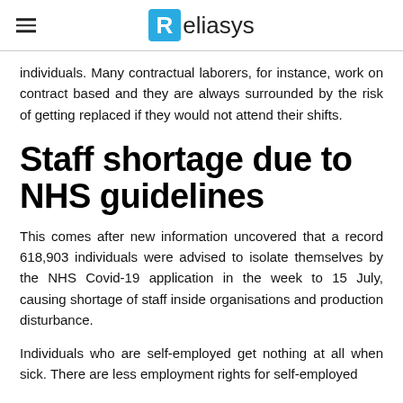Reliasys
individuals. Many contractual laborers, for instance, work on contract based and they are always surrounded by the risk of getting replaced if they would not attend their shifts.
Staff shortage due to NHS guidelines
This comes after new information uncovered that a record 618,903 individuals were advised to isolate themselves by the NHS Covid-19 application in the week to 15 July, causing shortage of staff inside organisations and production disturbance.
Individuals who are self-employed get nothing at all when sick. There are less employment rights for self-employed